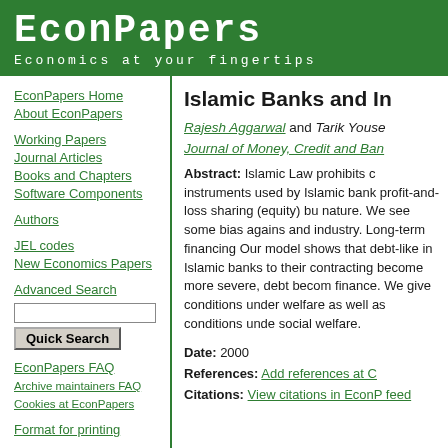EconPapers — Economics at your fingertips
EconPapers Home
About EconPapers
Working Papers
Journal Articles
Books and Chapters
Software Components
Authors
JEL codes
New Economics Papers
Advanced Search
EconPapers FAQ
Archive maintainers FAQ
Cookies at EconPapers
Format for printing
Islamic Banks and In
Rajesh Aggarwal and Tarik Youse
Journal of Money, Credit and Ban
Abstract: Islamic Law prohibits c instruments used by Islamic bank profit-and-loss sharing (equity) bu nature. We see some bias agains and industry. Long-term financing Our model shows that debt-like in Islamic banks to their contracting become more severe, debt becom finance. We give conditions under welfare as well as conditions unde social welfare.
Date: 2000
References: Add references at C
Citations: View citations in EconP feed